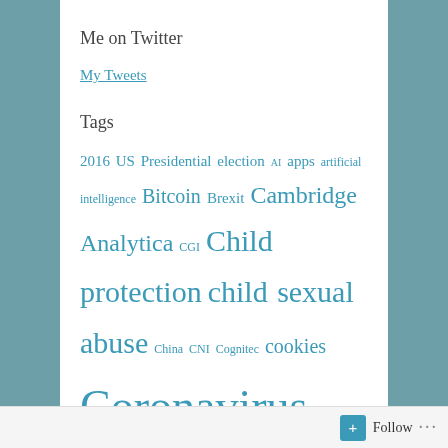Me on Twitter
My Tweets
Tags
2016 US Presidential election AI apps artificial intelligence Bitcoin Brexit Cambridge Analytica CGI Child protection child sexual abuse China CNI Cognitec cookies Coronavirus critical national infrastructure Cryptocurrency cybercrime cyber security Databases encryption energy energy sector ethics Facebook Facial recognition Fancy Bear fraud GDPR globalisation Google gov.uk Grooming hacking hi-tech traveller homogeneity Hong Kong India influence management
Follow